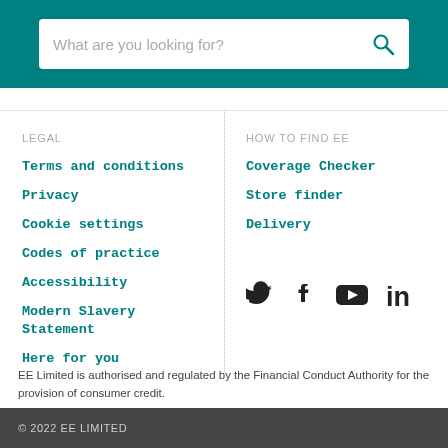What are you looking for?
LEGAL
Terms and conditions
Privacy
Cookie settings
Codes of practice
Accessibility
Modern Slavery Statement
Here for you
HOW TO FIND EE
Coverage Checker
Store finder
Delivery
[Figure (infographic): Social media icons: Twitter, Facebook, YouTube, LinkedIn]
EE Limited is authorised and regulated by the Financial Conduct Authority for the provision of consumer credit.
© 2022  EE LIMITED